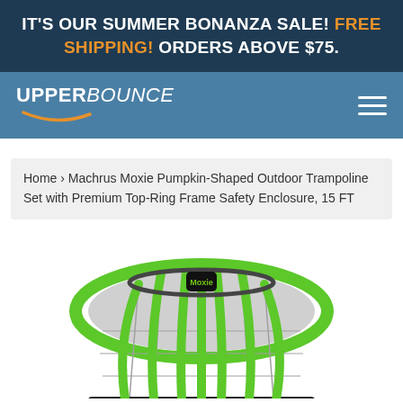IT'S OUR SUMMER BONANZA SALE! FREE SHIPPING! ORDERS ABOVE $75.
[Figure (logo): UpperBounce logo with white bold text 'UPPER' and italic 'BOUNCE' with orange swoosh underline, on steel blue background. Hamburger menu icon on right.]
Home › Machrus Moxie Pumpkin-Shaped Outdoor Trampoline Set with Premium Top-Ring Frame Safety Enclosure, 15 FT
[Figure (photo): Photo of a round trampoline with green poles and safety enclosure net, black frame, with a Moxie logo badge at top center. Viewed from slightly above front angle.]